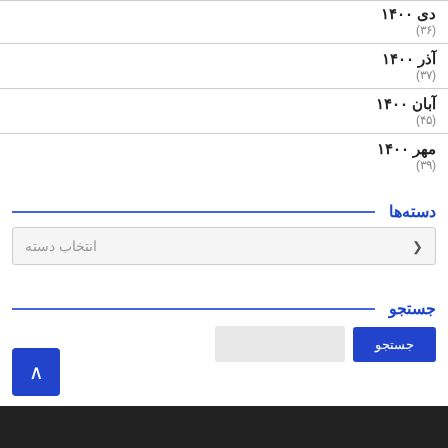دی ۱۴۰۰ (۳۶)
آذر ۱۴۰۰ (۳۷)
آبان ۱۴۰۰ (۴۵)
مهر ۱۴۰۰ (۳۹)
دسته‌ها
انتخاب دسته
جستجو
جستجو